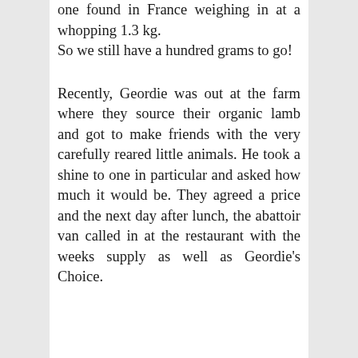one found in France weighing in at a whopping 1.3 kg. So we still have a hundred grams to go!
Recently, Geordie was out at the farm where they source their organic lamb and got to make friends with the very carefully reared little animals. He took a shine to one in particular and asked how much it would be. They agreed a price and the next day after lunch, the abattoir van called in at the restaurant with the weeks supply as well as Geordie's Choice.